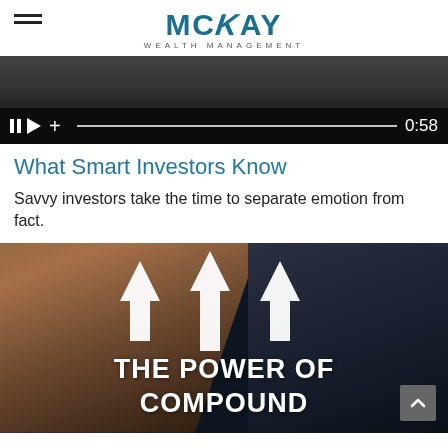McKay Wealth Management
[Figure (screenshot): Video player thumbnail showing a darkened screen with media controls (pause, play, volume), a progress bar, and a timestamp reading 0:58]
What Smart Investors Know
Savvy investors take the time to separate emotion from fact.
[Figure (photo): Dark promotional image showing a finger touching a tablet device, overlaid with three upward-pointing white arrows and bold white text reading THE POWER OF COMPOUND. A Benjamin Franklin engraving is visible on the tablet screen.]